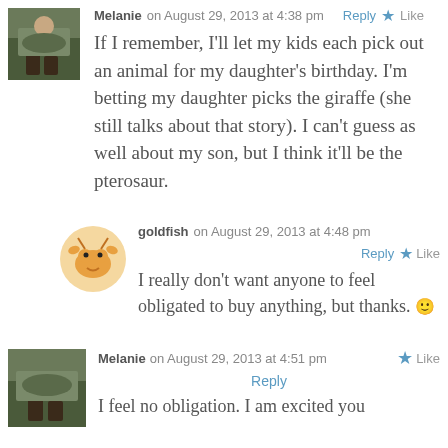[Figure (photo): Small avatar photo of Melanie, showing boots/legs outdoors]
Melanie on August 29, 2013 at 4:38 pm   Reply  Like
If I remember, I'll let my kids each pick out an animal for my daughter's birthday. I'm betting my daughter picks the giraffe (she still talks about that story). I can't guess as well about my son, but I think it'll be the pterosaur.
[Figure (illustration): Goldfish avatar icon - cartoon crab/goldfish character in orange]
goldfish on August 29, 2013 at 4:48 pm   Reply  Like
I really don't want anyone to feel obligated to buy anything, but thanks. 🙂
[Figure (photo): Small avatar photo of Melanie, showing boots/legs outdoors]
Melanie on August 29, 2013 at 4:51 pm   Reply  Like
I feel no obligation. I am excited you